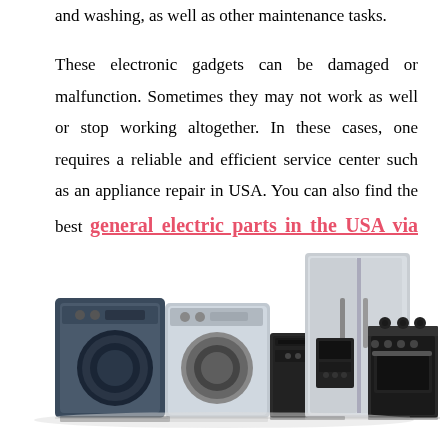and washing, as well as other maintenance tasks. These electronic gadgets can be damaged or malfunction. Sometimes they may not work as well or stop working altogether. In these cases, one requires a reliable and efficient service center such as an appliance repair in USA. You can also find the best general electric parts in the USA via https://usapartsandmore.com/.
[Figure (photo): Photo illustration of household appliances including front-loading washers/dryers, a stainless steel side-by-side refrigerator, a dishwasher, and a gas range stove arranged together.]